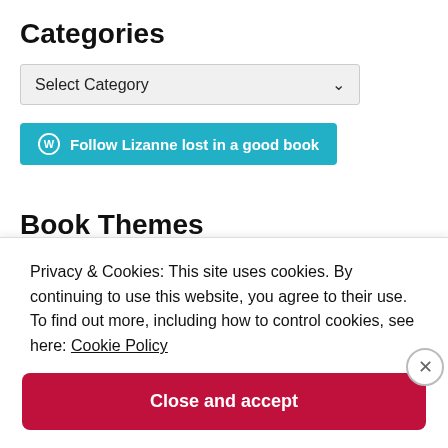Categories
Select Category
[Figure (screenshot): WordPress Follow button: Follow Lizanne lost in a good book]
Book Themes
##SquareChallenge  #amreading
#Bookblog (partially visible, cut off)
Privacy & Cookies: This site uses cookies. By continuing to use this website, you agree to their use.
To find out more, including how to control cookies, see here: Cookie Policy
Close and accept